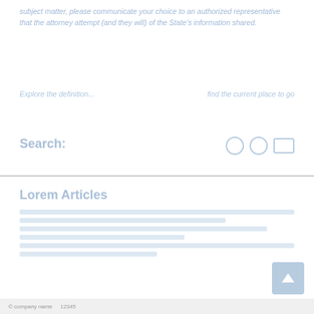subject matter, please communicate your choice to an authorized representative that the attorney attempt (and they will) of the State's information shared.
Explore the definition ... find the current place to go
Search:
Lorem Articles
[placeholder content lines]
© company name 12345